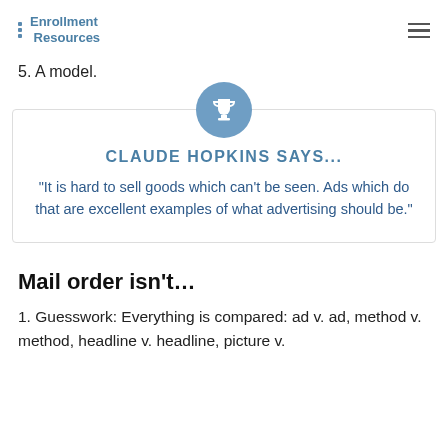Enrollment Resources
5. A model.
[Figure (illustration): Trophy icon inside a blue-grey circle, positioned above a bordered quote box]
CLAUDE HOPKINS SAYS...
“It is hard to sell goods which can’t be seen. Ads which do that are excellent examples of what advertising should be.”
Mail order isn’t…
1. Guesswork: Everything is compared: ad v. ad, method v. method, headline v. headline, picture v.